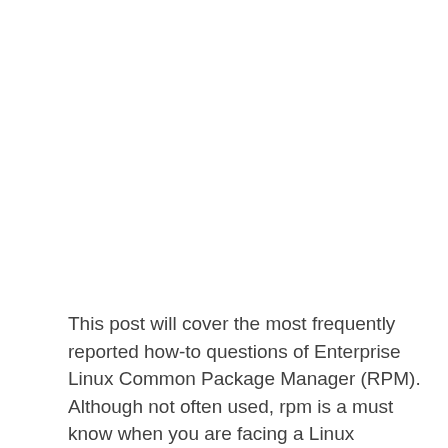This post will cover the most frequently reported how-to questions of Enterprise Linux Common Package Manager (RPM). Although not often used, rpm is a must know when you are facing a Linux